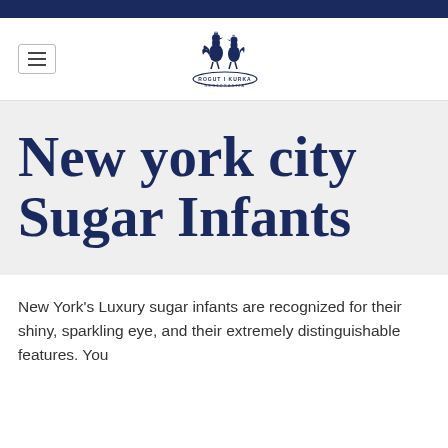[Figure (logo): Rogut i Kurka restaurant logo with rooster and hen silhouettes above circular badge text]
New york city Sugar Infants
New York's Luxury sugar infants are recognized for their shiny, sparkling eye, and their extremely distinguishable features. You